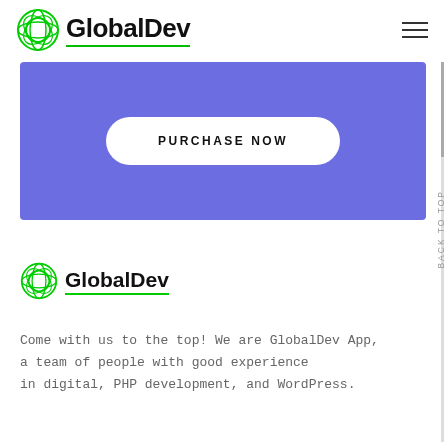GlobalDev
[Figure (screenshot): Purple/indigo banner with a white pill-shaped 'PURCHASE NOW' button centered on it]
[Figure (logo): GlobalDev logo with green circular icon and text 'GlobalDev' with green underline]
Come with us to the top! We are GlobalDev App, a team of people with good experience in digital, PHP development, and WordPress.